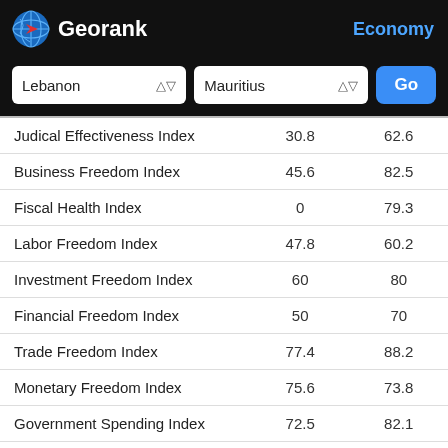Georank — Economy
Lebanon | Mauritius | Go
| Index | Lebanon | Mauritius |
| --- | --- | --- |
| Judical Effectiveness Index | 30.8 | 62.6 |
| Business Freedom Index | 45.6 | 82.5 |
| Fiscal Health Index | 0 | 79.3 |
| Labor Freedom Index | 47.8 | 60.2 |
| Investment Freedom Index | 60 | 80 |
| Financial Freedom Index | 50 | 70 |
| Trade Freedom Index | 77.4 | 88.2 |
| Monetary Freedom Index | 75.6 | 73.8 |
| Government Spending Index | 72.5 | 82.1 |
| Tax Burden Index | 90.8 | 91.5 |